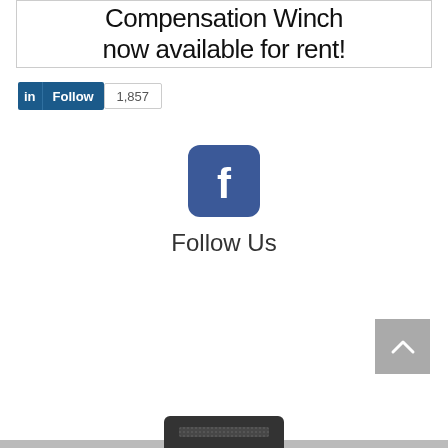Compensation Winch now available for rent!
[Figure (screenshot): LinkedIn Follow button widget showing 1,857 followers]
[Figure (logo): Facebook app icon - rounded square with white 'f' on blue background]
Follow Us
[Figure (other): Back to top button - grey square with upward chevron arrow]
[Figure (other): Partial view of a dark device at the bottom of the page]